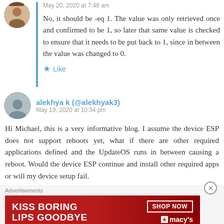[Figure (photo): Avatar photo of a man, circular crop, top-left area]
May 20, 2020 at 7:48 am
No, it should be -eq 1. The value was only retrieved once and confirmed to be 1, so later that same value is checked to ensure that it needs to be put back to 1, since in between the value was changed to 0.
★ Like
[Figure (illustration): Generic user avatar, circular, grey background with silhouette]
alekhya k (@alekhyak3)
May 19, 2020 at 10:34 pm
Hi Michael, this is a very informative blog. I assume the device ESP does not support reboots yet, what if there are other required applications defined and the UpdateOS runs in between causing a reboot. Would the device ESP continue and install other required apps or will my device setup fail.
Advertisements
[Figure (illustration): Macy's advertisement banner: KISS BORING LIPS GOODBYE with red lips image, SHOP NOW button, macy's logo]